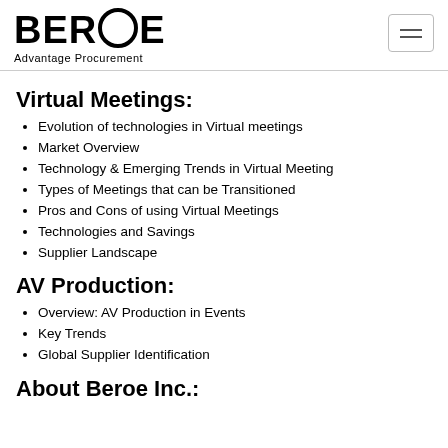BEROE Advantage Procurement
Virtual Meetings:
Evolution of technologies in Virtual meetings
Market Overview
Technology & Emerging Trends in Virtual Meeting
Types of Meetings that can be Transitioned
Pros and Cons of using Virtual Meetings
Technologies and Savings
Supplier Landscape
AV Production:
Overview: AV Production in Events
Key Trends
Global Supplier Identification
About Beroe Inc.: